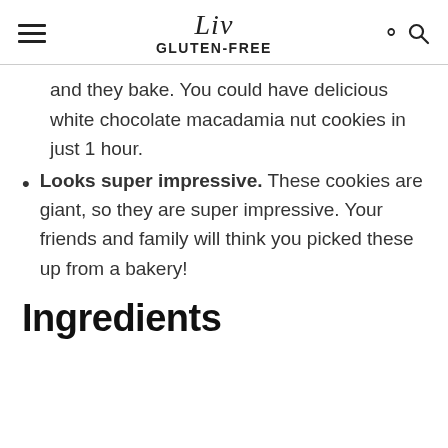Liv GLUTEN-FREE
and they bake. You could have delicious white chocolate macadamia nut cookies in just 1 hour.
Looks super impressive. These cookies are giant, so they are super impressive. Your friends and family will think you picked these up from a bakery!
Ingredients